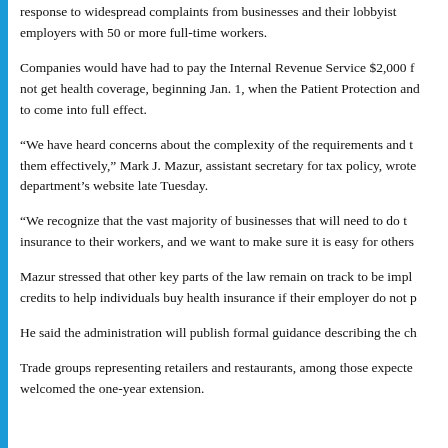response to widespread complaints from businesses and their lobbyists. employers with 50 or more full-time workers.
Companies would have had to pay the Internal Revenue Service $2,000 for each worker who did not get health coverage, beginning Jan. 1, when the Patient Protection and Affordable Care Act was to come into full effect.
“We have heard concerns about the complexity of the requirements and the need for time to implement them effectively,” Mark J. Mazur, assistant secretary for tax policy, wrote on the Treasury department’s website late Tuesday.
“We recognize that the vast majority of businesses that will need to do this already provide health insurance to their workers, and we want to make sure it is easy for others to do so as well.”
Mazur stressed that other key parts of the law remain on track to be implemented, including tax credits to help individuals buy health insurance if their employer do not provide it.
He said the administration will publish formal guidance describing the changes in the coming week.
Trade groups representing retailers and restaurants, among those expected to benefit most, welcomed the one-year extension.